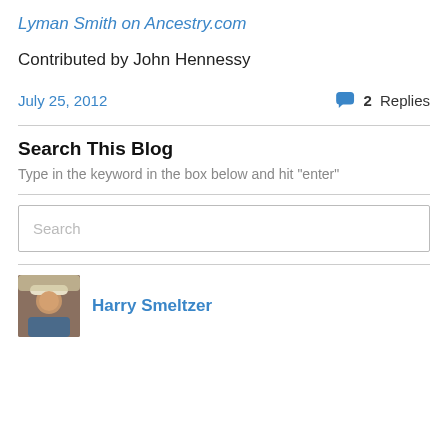Lyman Smith on Ancestry.com
Contributed by John Hennessy
July 25, 2012
2 Replies
Search This Blog
Type in the keyword in the box below and hit "enter"
Search
Harry Smeltzer